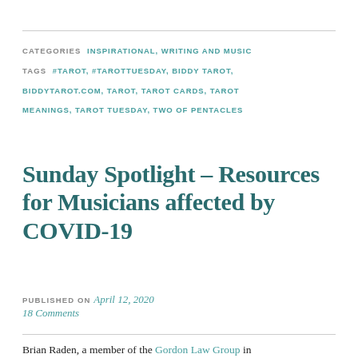CATEGORIES  INSPIRATIONAL, WRITING AND MUSIC
TAGS  #TAROT, #TAROTTUESDAY, BIDDY TAROT, BIDDYTAROT.COM, TAROT, TAROT CARDS, TAROT MEANINGS, TAROT TUESDAY, TWO OF PENTACLES
Sunday Spotlight – Resources for Musicians affected by COVID-19
PUBLISHED ON April 12, 2020
18 Comments
Brian Raden, a member of the Gordon Law Group in